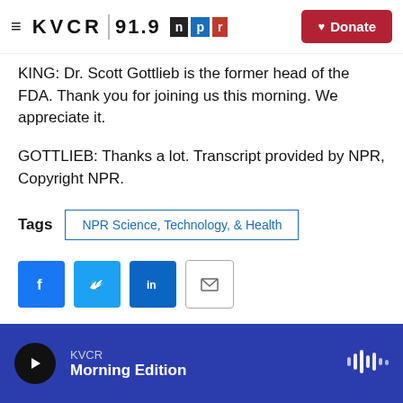KVCR 91.9 NPR | Donate
KING: Dr. Scott Gottlieb is the former head of the FDA. Thank you for joining us this morning. We appreciate it.
GOTTLIEB: Thanks a lot. Transcript provided by NPR, Copyright NPR.
Tags  NPR Science, Technology, & Health
[Figure (infographic): Social share buttons: Facebook, Twitter, LinkedIn, Email]
KVCR  Morning Edition  (player bar)